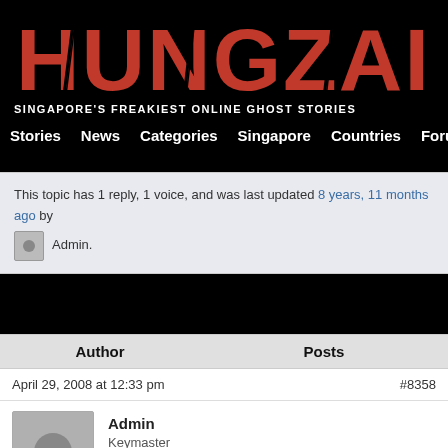[Figure (logo): Hungzai logo - large red distressed text on black background with tagline 'Singapore's Freakiest Online Ghost Stories']
Stories   News   Categories   Singapore   Countries   Forum   Sub
This topic has 1 reply, 1 voice, and was last updated 8 years, 11 months ago by Admin.
| Author | Posts |
| --- | --- |
April 29, 2008 at 12:33 pm   #8358
Admin
Keymaster